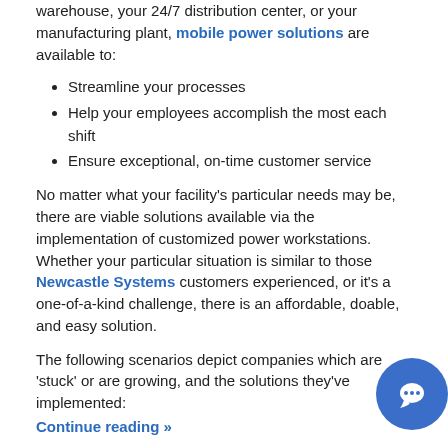warehouse, your 24/7 distribution center, or your manufacturing plant, mobile power solutions are available to:
Streamline your processes
Help your employees accomplish the most each shift
Ensure exceptional, on-time customer service
No matter what your facility's particular needs may be, there are viable solutions available via the implementation of customized power workstations. Whether your particular situation is similar to those Newcastle Systems customers experienced, or it's a one-of-a-kind challenge, there is an affordable, doable, and easy solution.
The following scenarios depict companies which are 'stuck' or are growing, and the solutions they've implemented:
Continue reading »
Filed under: Solutions, White Paper
Tags: Distribution Center, inventory, Mobile cart, Mobile powered carts, mobile powered workstations, Newcastle Systems, power, Warehouse
Newcastle Systems Releases New, Slimmer Mobile Computer Workstation – NB Series SLIM
Posted November 20, 2013
Newcastle Systems, the leader in